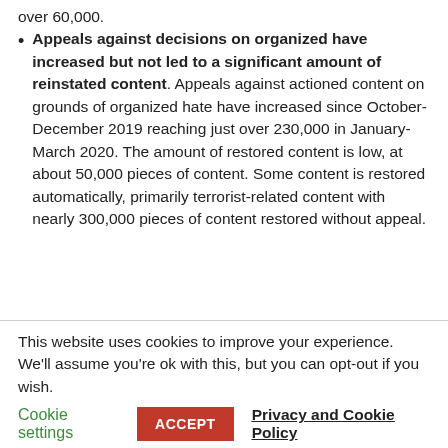over 60,000.
Appeals against decisions on organized have increased but not led to a significant amount of reinstated content. Appeals against actioned content on grounds of organized hate have increased since October-December 2019 reaching just over 230,000 in January-March 2020. The amount of restored content is low, at about 50,000 pieces of content. Some content is restored automatically, primarily terrorist-related content with nearly 300,000 pieces of content restored without appeal.
This website uses cookies to improve your experience. We'll assume you're ok with this, but you can opt-out if you wish.
Cookie settings  ACCEPT  Privacy and Cookie Policy